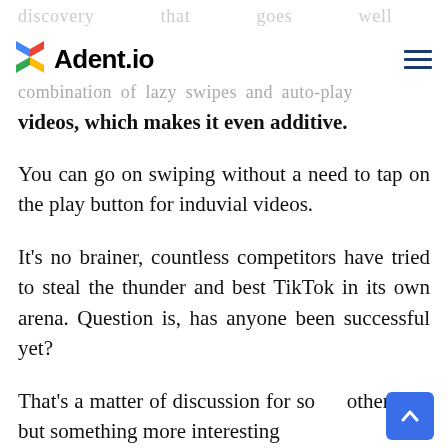Adent.io
videos, which makes it even additive.
You can go on swiping without a need to tap on the play button for induvial videos.
It's no brainer, countless competitors have tried to steal the thunder and best TikTok in its own arena. Question is, has anyone been successful yet?
That's a matter of discussion for some other day, but something more interesting